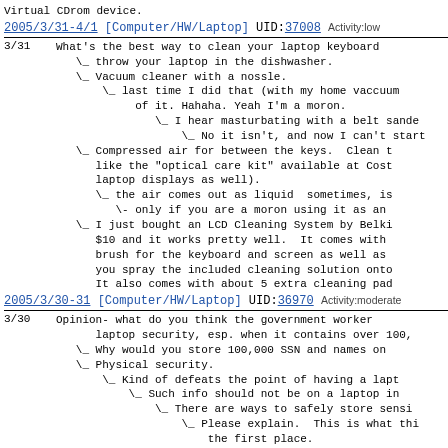Virtual CDrom device.
2005/3/31-4/1 [Computer/HW/Laptop] UID:37008 Activity:low
3/31  What's the best way to clean your laptop keyboard
\_ throw your laptop in the dishwasher.
\_ Vacuum cleaner with a nossle.
\_ last time I did that (with my home vaccuum of it. Hahaha. Yeah I'm a moron.
\_ I hear masturbating with a belt sande
\_ No it isn't, and now I can't start
\_ Compressed air for between the keys. Clean t like the "optical care kit" available at Cost laptop displays as well).
\_ the air comes out as liquid  sometimes, is
\- only if you are a moron using it as an
\_ I just bought an LCD Cleaning System by Belki $10 and it works pretty well. It comes with brush for the keyboard and screen as well as you spray the included cleaning solution onto It also comes with about 5 extra cleaning pad
2005/3/30-31 [Computer/HW/Laptop] UID:36970 Activity:moderate
3/30  Opinion- what do you think the government worker laptop security, esp. when it contains over 100,
\_ Why would you store 100,000 SSN and names on
\_ Physical security.
\_ Kind of defeats the point of having a lapt
\_ Such info should not be on a laptop in
\_ There are ways to safely store sensi
\_ Please explain. This is what thi the first place.